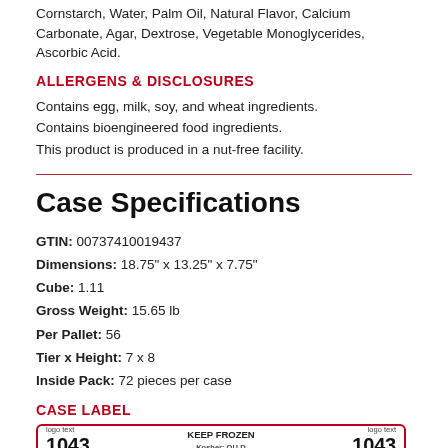Cornstarch, Water, Palm Oil, Natural Flavor, Calcium Carbonate, Agar, Dextrose, Vegetable Monoglycerides, Ascorbic Acid.
ALLERGENS & DISCLOSURES
Contains egg, milk, soy, and wheat ingredients.
Contains bioengineered food ingredients.
This product is produced in a nut-free facility.
Case Specifications
GTIN: 00737410019437
Dimensions: 18.75" x 13.25" x 7.75"
Cube: 1.11
Gross Weight: 15.65 lb
Per Pallet: 56
Tier x Height: 7 x 8
Inside Pack: 72 pieces per case
CASE LABEL
[Figure (other): Case label image showing the number 1043 on each side with KEEP FROZEN and Kosher: OU-D in the center, bordered in red.]